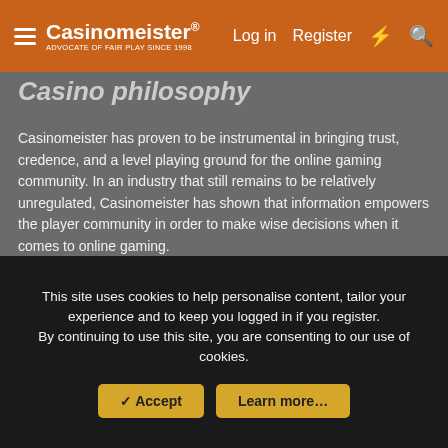Casinomeister® — Log in | Register
Casino philosophy
Casinomeister has proven to be instrumental in bringing trust, credence, and a level playing ground for the online gaming community. In an industry that still remains to be relatively unregulated, Casinomeister has shown that information empowers the player community in order to make wise decisions when it comes to online gaming.
Player arbitration
[Figure (logo): Chartered Institute of Arbitrators shield logo with red and white heraldic design featuring a cross and scales of justice]
Chartered Institute of Arbitrators
Associate
[Figure (logo): Blue and gold shield badge icon with +18 text beside it]
This site uses cookies to help personalise content, tailor your experience and to keep you logged in if you register.
By continuing to use this site, you are consenting to our use of cookies.
Accept | Learn more…